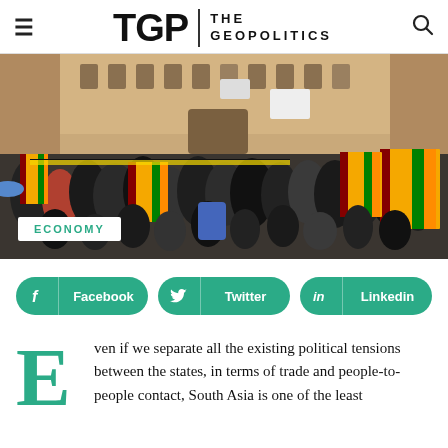TGP THE GEOPOLITICS
[Figure (photo): A large crowd of protesters holding Sri Lankan national flags in front of a building. Many people are visible, some wearing the flag as a cape. Signs and barriers visible in the background.]
ECONOMY
Facebook  Twitter  Linkedin
ven if we separate all the existing political tensions between the states, in terms of trade and people-to-people contact, South Asia is one of the least